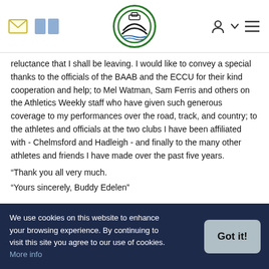[Navigation header with envelope icon, book icon, logo, user icon, chevron, menu icon]
reluctance that I shall be leaving. I would like to convey a special thanks to the officials of the BAAB and the ECCU for their kind cooperation and help; to Mel Watman, Sam Ferris and others on the Athletics Weekly staff who have given such generous coverage to my performances over the road, track, and country; to the athletes and officials at the two clubs I have been affiliated with - Chelmsford and Hadleigh - and finally to the many other athletes and friends I have made over the past five years.
“Thank you all very much.
“Yours sincerely, Buddy Edelen”
Gerry Cox
At Rainsford Youth Club in the mid-fifties Gerry Cox took the Club’s weekly ‘Circuit Training’ - a system he had helped Morgan and Adamson develop at Carnesia. One report suggests it was also used at the
We use cookies on this website to enhance your browsing experience. By continuing to visit this site you agree to our use of cookies. More info